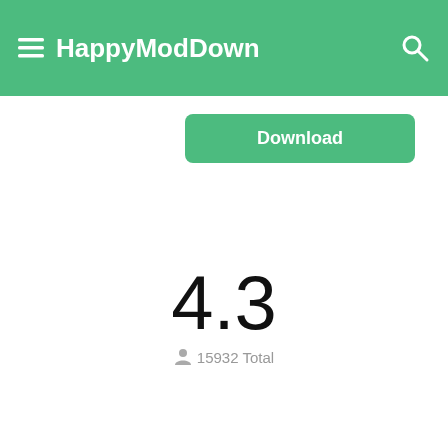HappyModDown
Download
4.3
15932 Total
5 ★ | 0
4 ★ | 0
3 ★ | 0
2 ★ | 0
1 ★ | 0